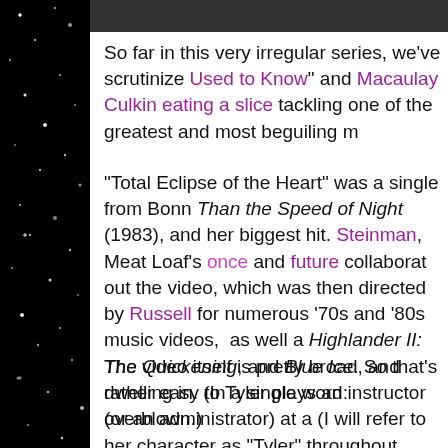[Figure (photo): Dark image at top of page, partially visible]
So far in this very irregular series, we've scrutinize Used to Know" and Macaulay Culkin eating a slice tackling one of the greatest and most beguiling m
"Total Eclipse of the Heart" was a single from Bonn Than the Speed of Night (1983), and her biggest hit. Steinman, Meat Loaf's once and future collaborat out the video, which was then directed by Russell for numerous '70s and '80s music videos, as well a Highlander II: The Quickening, and Blue Ice. So that's dwelling in. (In a single word: overblown.)
The video itself is pretty broad, and rather easy to Tyler plays an instructor (or an administrator) at a (I will refer to her character as "Tyler" throughout Extremely sexually repressed, Tyler endures a long